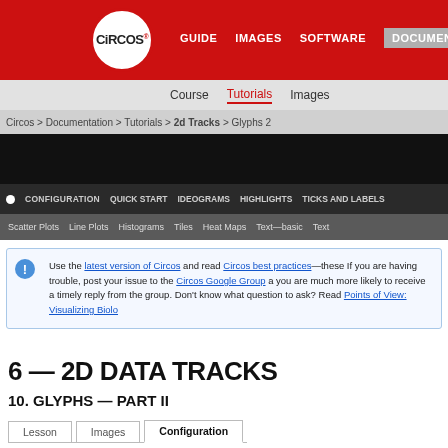CIRCOS — GUIDE  IMAGES  SOFTWARE  DOCUMENTATION
Course  Tutorials  Images
Circos > Documentation > Tutorials > 2d Tracks > Glyphs 2
CONFIGURATION  QUICK START  IDEOGRAMS  HIGHLIGHTS  TICKS AND LABELS
Scatter Plots  Line Plots  Histograms  Tiles  Heat Maps  Text—basic  Text
Use the latest version of Circos and read Circos best practices—these If you are having trouble, post your issue to the Circos Google Group a you are much more likely to receive a timely reply from the group. Don't know what question to ask? Read Points of View: Visualizing Biolo
6 — 2D DATA TRACKS
10. GLYPHS — PART II
Lesson  Images  Configuration